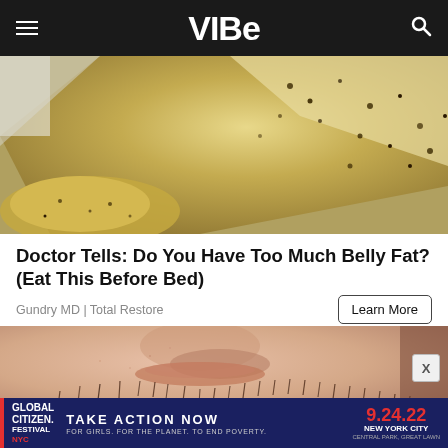VIBE
[Figure (photo): Close-up photo of food item with golden/yellow coloring and black specks, resembling a marinated or seasoned food product]
Doctor Tells: Do You Have Too Much Belly Fat? (Eat This Before Bed)
Gundry MD | Total Restore
[Figure (photo): Close-up macro photo of a man's face/chin with stubble/beard growth, skin pores visible]
GLOBAL CITIZEN FESTIVAL NYC  TAKE ACTION NOW  FOR GIRLS. FOR THE PLANET. TO END POVERTY.  9.24.22  NEW YORK CITY  CENTRAL PARK, GREAT LAWN